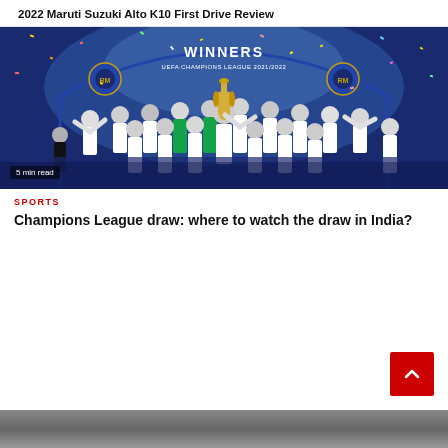2022 Maruti Suzuki Alto K10 First Drive Review
[Figure (photo): Real Madrid team celebrating UEFA Champions League 2021/2022 victory, players holding the trophy under a winners arch with confetti]
5 min read
SPORTS
Champions League draw: where to watch the draw in India?
[Figure (photo): Partially visible photo at the bottom of the page]